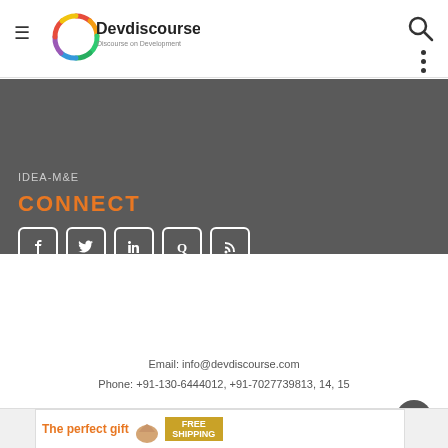[Figure (logo): Devdiscourse logo in header - colorful circular icon with Devdiscourse text and 'Discourse on Development' tagline]
IDEA-M&E
CONNECT
[Figure (infographic): Social media icons: Facebook, Twitter, LinkedIn, Quora, RSS - white rounded square buttons]
[Figure (logo): Devdiscourse footer logo - large colorful circular icon with Devdiscourse text and 'Discourse on Development' tagline]
Email: info@devdiscourse.com
Phone: +91-130-6444012, +91-7027739813, 14, 15
[Figure (infographic): Advertisement banner - The perfect gift with food image and FREE SHIPPING gold badge]